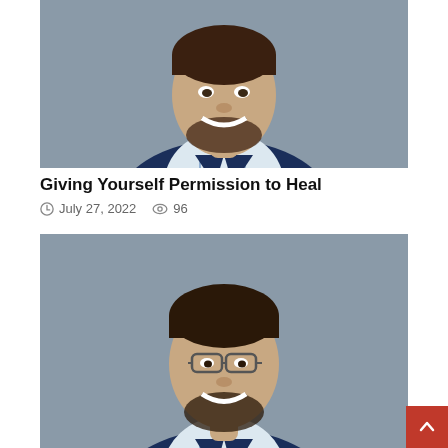[Figure (photo): Professional headshot of a smiling man with beard wearing a navy blue blazer over a plaid shirt, against a gray background]
Giving Yourself Permission to Heal
July 27, 2022   96
[Figure (photo): Professional headshot of a smiling man with dark hair, glasses, and beard wearing a navy blue blazer over a plaid shirt, against a gray background]